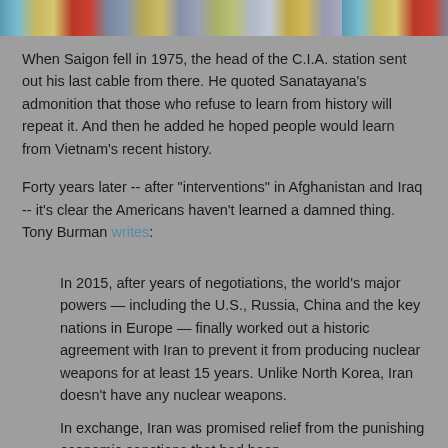[Figure (photo): Colorful image strip at top of page showing various colorful objects]
When Saigon fell in 1975, the head of the C.I.A. station sent out his last cable from there. He quoted Sanatayana's admonition that those who refuse to learn from history will repeat it. And then he added he hoped people would learn from Vietnam's recent history.
Forty years later -- after "interventions" in Afghanistan and Iraq -- it's clear the Americans haven't learned a damned thing. Tony Burman writes:
In 2015, after years of negotiations, the world's major powers — including the U.S., Russia, China and the key nations in Europe — finally worked out a historic agreement with Iran to prevent it from producing nuclear weapons for at least 15 years. Unlike North Korea, Iran doesn't have any nuclear weapons.
In exchange, Iran was promised relief from the punishing economic sanctions that had been